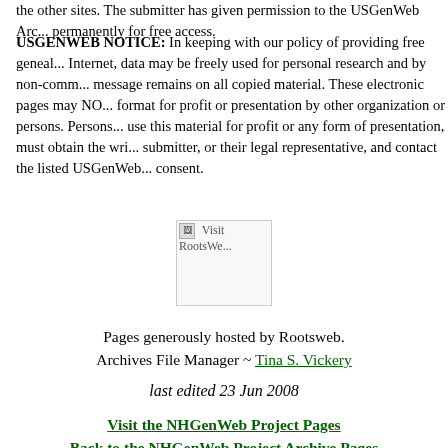the other sites. The submitter has given permission to the USGenWeb Archives to store the file permanently for free access.
USGENWEB NOTICE: In keeping with our policy of providing free genealogy data on the Internet, data may be freely used for personal research and by non-comm... message remains on all copied material. These electronic pages may NO... format for profit or presentation by other organization or persons. Persons... use this material for profit or any form of presentation, must obtain the wri... submitter, or their legal representative, and contact the listed USGenWeb... consent.
[Figure (illustration): Visit RootsWeb banner/logo image (broken image placeholder)]
Pages generously hosted by Rootsweb.
Archives File Manager ~ Tina S. Vickery
last edited 23 Jun 2008
Visit the NHGenWeb Project Pages
Back to the NHGenWeb Project Archive Pages